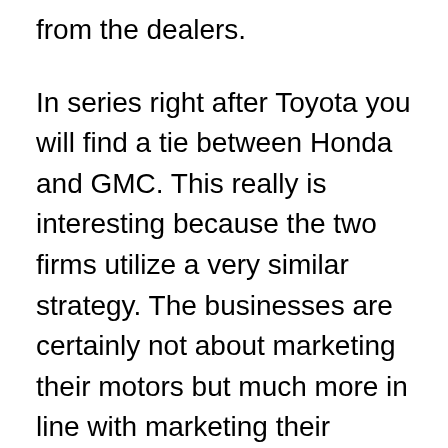from the dealers.
In series right after Toyota you will find a tie between Honda and GMC. This really is interesting because the two firms utilize a very similar strategy. The businesses are certainly not about marketing their motors but much more in line with marketing their innovations. The two organizations present that they could deal with anybody to produce a car not simply for the location, also for the time. In addition they exceed that to work on R&D to build autos that achieve into the future, ahead of the current trends. Both of them sell their services